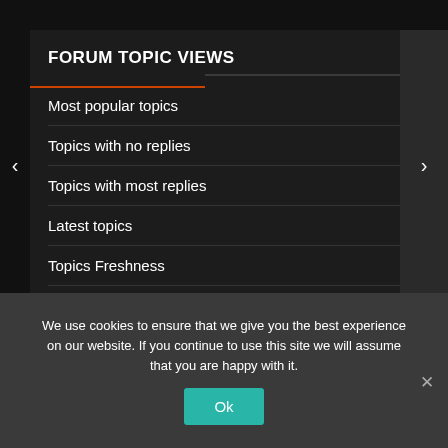FORUM TOPIC VIEWS
Most popular topics
Topics with no replies
Topics with most replies
Latest topics
Topics Freshness
We use cookies to ensure that we give you the best experience on our website. If you continue to use this site we will assume that you are happy with it.